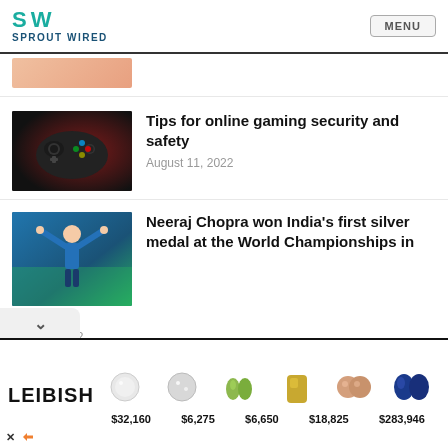SPROUT WIRED | MENU
[Figure (photo): Partial view of article thumbnail at top, skin-toned image cropped]
Tips for online gaming security and safety
August 11, 2022
[Figure (photo): Photo of Neeraj Chopra in blue athletic outfit with arms raised]
Neeraj Chopra won India's first silver medal at the World Championships in Athletics
July 25, 2022
[Figure (illustration): Advertisement banner for Leibish jewelry showing diamond earrings, green gems, yellow gem, rose gold earrings, sapphire gems with prices $32,160 $6,275 $6,650 $18,825 $283,946]